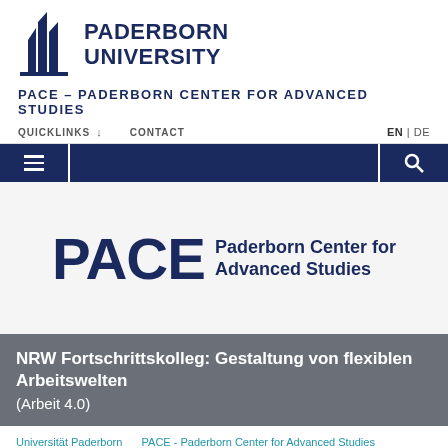[Figure (logo): Paderborn University logo with building icon and text PADERBORN UNIVERSITY]
PACE – PADERBORN CENTER FOR ADVANCED STUDIES
QUICKLINKS  CONTACT  EN | DE
[Figure (logo): PACE Paderborn Center for Advanced Studies logo]
NRW Fortschrittskolleg: Gestaltung von flexiblen Arbeitswelten (Arbeit 4.0)
Universität Paderborn   PACE - Paderborn Center for Advanced Studies   PACE-PhD Programme   FK Arbeit 4.0   Events   Abstract 2